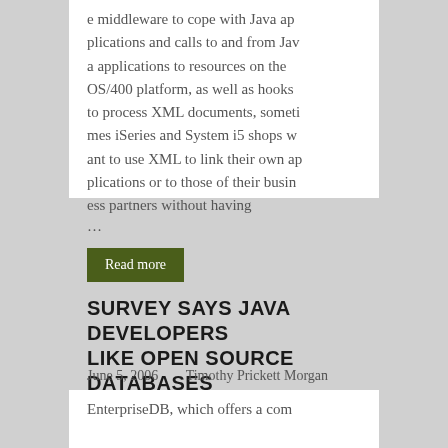e middleware to cope with Java applications and calls to and from Java applications to resources on the OS/400 platform, as well as hooks to process XML documents, sometimes iSeries and System i5 shops want to use XML to link their own applications or to those of their business partners without having
...
Read more
SURVEY SAYS JAVA DEVELOPERS LIKE OPEN SOURCE DATABASES
June 5, 2006     Timothy Prickett Morgan
EnterpriseDB, which offers a com